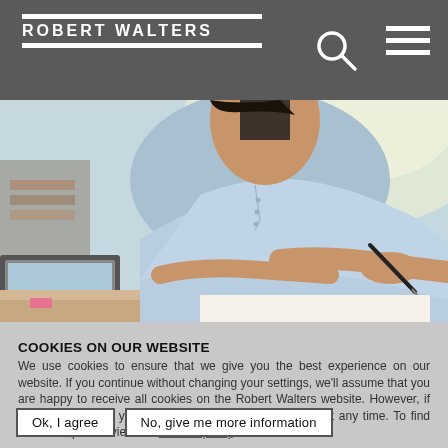ROBERT WALTERS
[Figure (photo): Woman in light blue shirt writing at a desk with a laptop, photographed from above/side, office setting with bright window light]
COOKIES ON OUR WEBSITE
We use cookies to ensure that we give you the best experience on our website. If you continue without changing your settings, we'll assume that you are happy to receive all cookies on the Robert Walters website. However, if you would like to, you can change your cookie settings at any time. To find out more, please view our cookies policy.
Ok, I agree
No, give me more information